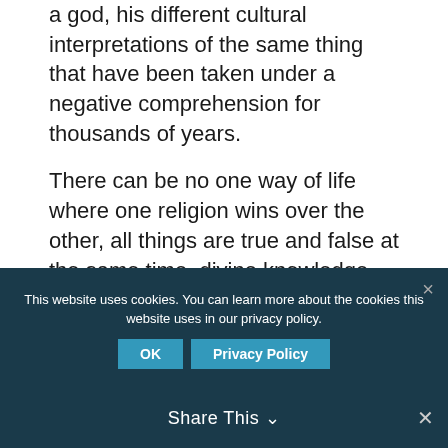a god, his different cultural interpretations of the same thing that have been taken under a negative comprehension for thousands of years.
There can be no one way of life where one religion wins over the other, all things are true and false at the same time, divine knowledge and influence must always be discredited to convey the test of life, the test of true faith in a harsh unforgiving existence to see your hearts and actions as they decipher your inner self and see which of the two perceptions of yourself and which you will choose over the other. its all a matter of perceiving in your life for the first time with an untainted heart and a systematic
This website uses cookies. You can learn more about the cookies this website uses in our privacy policy.
Share This